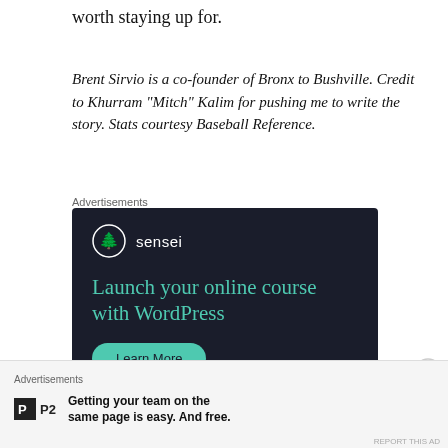worth staying up for.
Brent Sirvio is a co-founder of Bronx to Bushville. Credit to Khurram “Mitch” Kalim for pushing me to write the story. Stats courtesy Baseball Reference.
Advertisements
[Figure (other): Sensei advertisement: Launch your online course with WordPress. Learn More button.]
Advertisements
[Figure (other): P2 advertisement: Getting your team on the same page is easy. And free.]